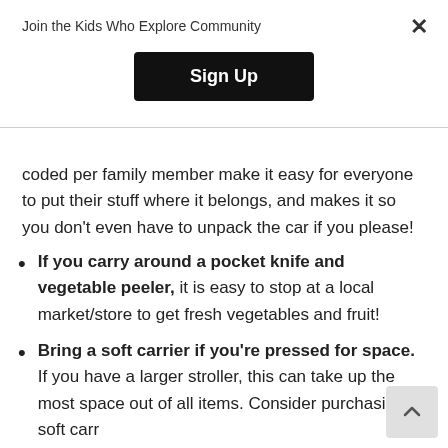Join the Kids Who Explore Community
Sign Up
coded per family member make it easy for everyone to put their stuff where it belongs, and makes it so you don’t even have to unpack the car if you please!
If you carry around a pocket knife and vegetable peeler, it is easy to stop at a local market/store to get fresh vegetables and fruit!
Bring a soft carrier if you’re pressed for space. If you have a larger stroller, this can take up the most space out of all items. Consider purchasing a soft carr